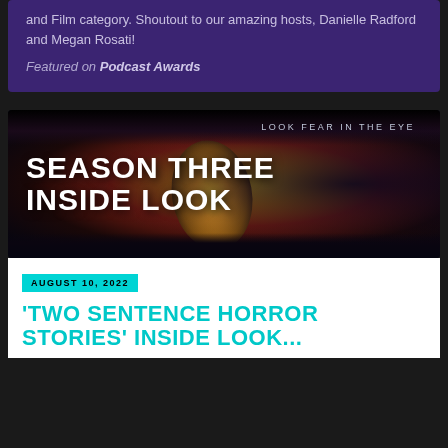and Film category. Shoutout to our amazing hosts, Danielle Radford and Megan Rosati!
Featured on Podcast Awards
[Figure (photo): Promotional image for 'Season Three Inside Look' podcast. Close-up of a dramatic eye with intense yellow-gold iris against dark red and black background. Text overlay reads 'LOOK FEAR IN THE EYE' at top, and 'SEASON THREE INSIDE LOOK' in large white bold text.]
AUGUST 10, 2022
'TWO SENTENCE HORROR STORIES' INSIDE LOOK...